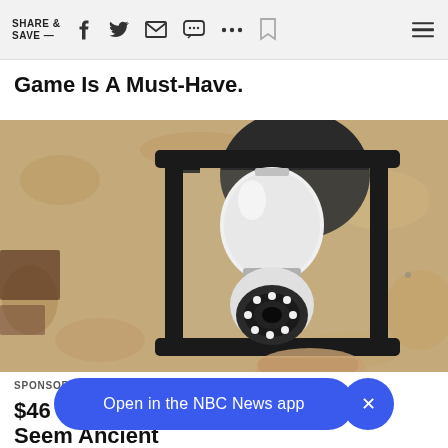SHARE & SAVE —  [icons: facebook, twitter, email, message, more, bookmark, menu]
Game Is A Must-Have.
[Figure (photo): A security camera shaped like a light bulb installed inside a black outdoor lantern wall fixture, against a textured beige stucco wall.]
SPONSORED / TRENDINGTECH
$46 Se... ns Seem Ancient